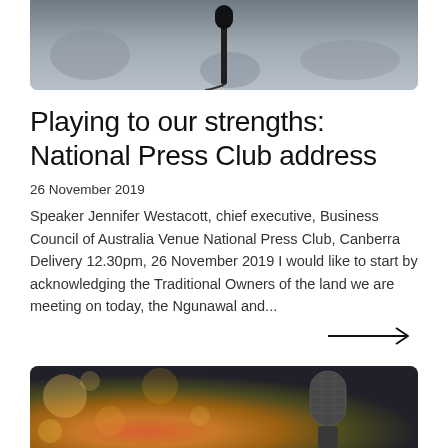[Figure (photo): Top portion of a microphone photo, grey/dark tones, partial view cropped at top]
Playing to our strengths: National Press Club address
26 November 2019
Speaker Jennifer Westacott, chief executive, Business Council of Australia Venue National Press Club, Canberra Delivery 12.30pm, 26 November 2019 I would like to start by acknowledging the Traditional Owners of the land we are meeting on today, the Ngunawal and...
[Figure (photo): Bottom portion of a microphone photo with bokeh background lights, warm orange/gold tones]